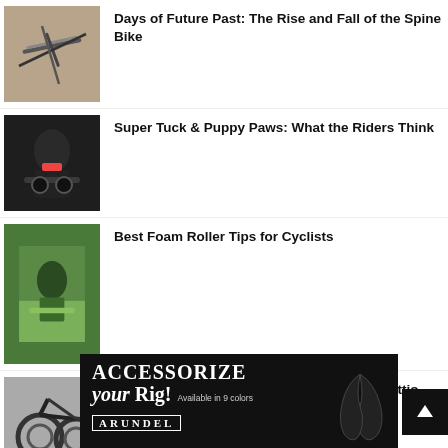Days of Future Past: The Rise and Fall of the Spine Bike
Super Tuck & Puppy Paws: What the Riders Think
Best Foam Roller Tips for Cyclists
Officine Mattio OM1 Disc Bike Review: Is Mattio Workshop Saving Italian Cycling?
[Figure (photo): Advertisement for Arundel: Accessorize Your Rig! Available in 9 colors, with handlebar accessory image and Arundel brand name]
[Figure (other): Back to top arrow button]